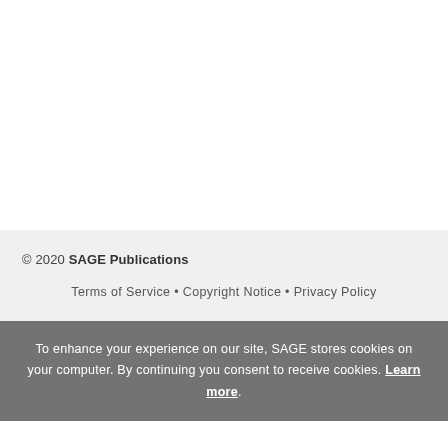© 2020 SAGE Publications
Terms of Service • Copyright Notice • Privacy Policy
To enhance your experience on our site, SAGE stores cookies on your computer. By continuing you consent to receive cookies. Learn more.